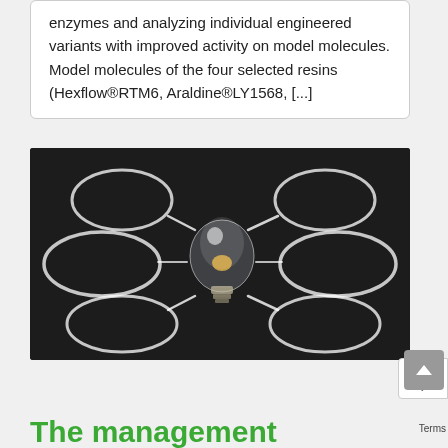enzymes and analyzing individual engineered variants with improved activity on model molecules. Model molecules of the four selected resins (Hexflow®RTM6, Araldine®LY1568, [...]
[Figure (photo): Dark chalkboard background with a glass light bulb in the center, surrounded by six chalk-drawn ellipses connected to the bulb by chalk lines, suggesting a mind-map or brainstorming concept diagram.]
The management